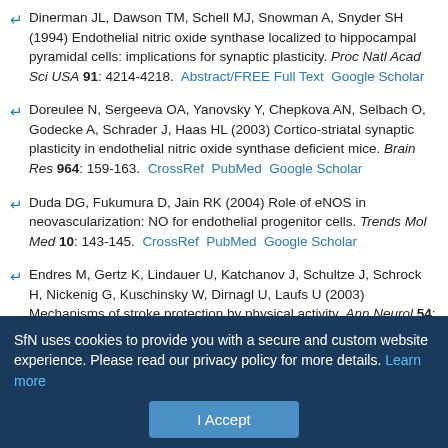Dinerman JL, Dawson TM, Schell MJ, Snowman A, Snyder SH (1994) Endothelial nitric oxide synthase localized to hippocampal pyramidal cells: implications for synaptic plasticity. Proc Natl Acad Sci USA 91: 4214-4218. Abstract/FREE Full Text Google Scholar
Doreulee N, Sergeeva OA, Yanovsky Y, Chepkova AN, Selbach O, Godecke A, Schrader J, Haas HL (2003) Cortico-striatal synaptic plasticity in endothelial nitric oxide synthase deficient mice. Brain Res 964: 159-163. CrossRef PubMed Google Scholar
Duda DG, Fukumura D, Jain RK (2004) Role of eNOS in neovascularization: NO for endothelial progenitor cells. Trends Mol Med 10: 143-145. CrossRef PubMed Google Scholar
Endres M, Gertz K, Lindauer U, Katchanov J, Schultze J, Schrock H, Nickenig G, Kuschinsky W, Dirnagl U, Laufs U (2003) Mechanisms of stroke protection by physical activity. Ann Neurol 54: 582-590. CrossRef
SfN uses cookies to provide you with a secure and custom website experience. Please read our privacy policy for more details. Learn more